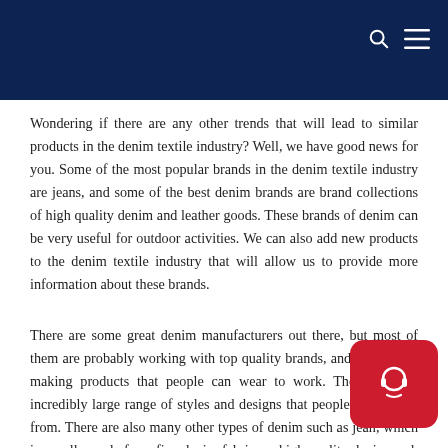Wondering if there are any other trends that will lead to similar products in the denim textile industry? Well, we have good news for you. Some of the most popular brands in the denim textile industry are jeans, and some of the best denim brands are brand collections of high quality denim and leather goods. These brands of denim can be very useful for outdoor activities. We can also add new products to the denim textile industry that will allow us to provide more information about these brands.
There are some great denim manufacturers out there, but most of them are probably working with top quality brands, and they're just making products that people can wear to work. They have an incredibly large range of styles and designs that people can choose from. There are also many other types of denim such as jean, which is usually made from fine denim fabric, or high quality denim such as cotton. All of these different styles and designs can be created by combining different fabrics and making them available in different colours. They are very versatile and make great gifts for any occasion.
[Figure (other): Red chat/support button with headset icon in bottom right corner]